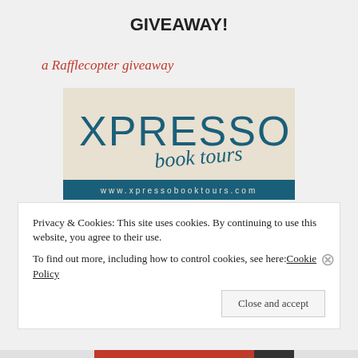GIVEAWAY!
a Rafflecopter giveaway
[Figure (logo): Xpresso Book Tours logo with website www.xpressobooktours.com]
Privacy & Cookies: This site uses cookies. By continuing to use this website, you agree to their use.
To find out more, including how to control cookies, see here: Cookie Policy
Close and accept